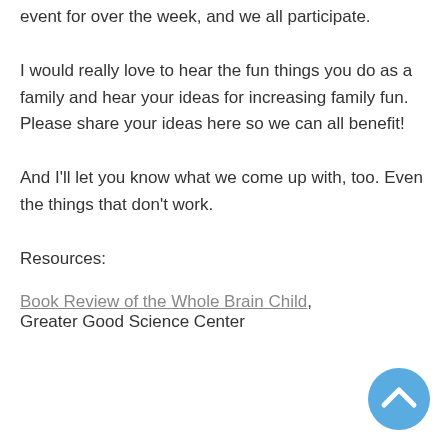event for over the week, and we all participate.
I would really love to hear the fun things you do as a family and hear your ideas for increasing family fun.  Please share your ideas here so we can all benefit!
And I'll let you know what we come up with, too. Even the things that don't work.
Resources:
Book Review of the Whole Brain Child, Greater Good Science Center